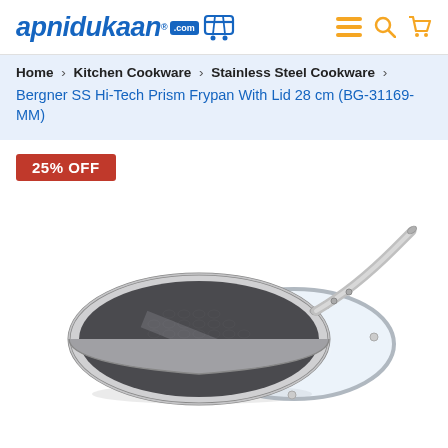apnidukaan.com
Home > Kitchen Cookware > Stainless Steel Cookware > Bergner SS Hi-Tech Prism Frypan With Lid 28 cm (BG-31169-MM)
25% OFF
[Figure (photo): Bergner SS Hi-Tech Prism Frypan with glass lid, stainless steel, 28 cm, showing textured honeycomb surface and long handle]